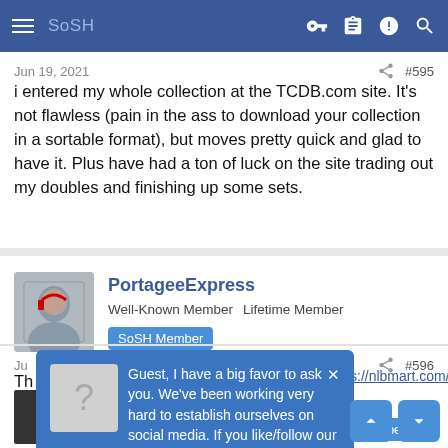SoSH navigation bar
Jun 19, 2021  #595
i entered my whole collection at the TCDB.com site. It's not flawless (pain in the ass to download your collection in a sortable format), but moves pretty quick and glad to have it. Plus have had a ton of luck on the site trading out my doubles and finishing up some sets.
PortageeExpress
Well-Known Member  Lifetime Member  SoSH Member
Jun ... #596
Guest, I have a big favor to ask you. We've been working very hard to establish ourselves on social media. If you like/follow our pages it would be a HUGE help to us. SoSH on Facebook and Inside the Pylon Thanks! Nip
Member